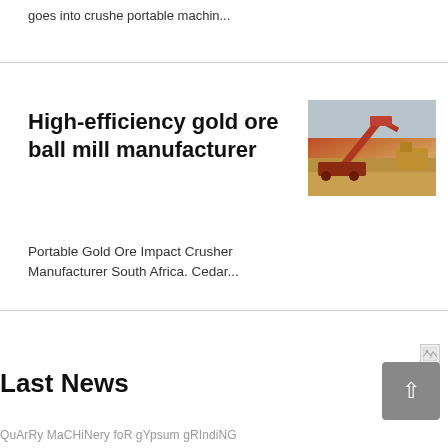goes into crushe portable machin...
High-efficiency gold ore ball mill manufacturer
[Figure (photo): A red/orange portable ore crusher or conveyor machine on sandy ground with other yellow machinery in the background]
Portable Gold Ore Impact Crusher Manufacturer South Africa. Cedar...
Last News
QuArRy MaCHiNery foR gYpsum gRIndiNG